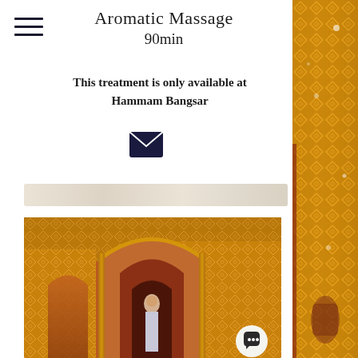Aromatic Massage
90min
This treatment is only available at Hammam Bangsar
[Figure (illustration): Dark navy envelope/email icon]
[Figure (photo): Moroccan-style hammam interior with ornate golden lattice screens, arched doorways, terracotta walls, and a person walking through]
[Figure (photo): Right-side decorative strip showing close-up of golden Moroccan geometric lattice work]